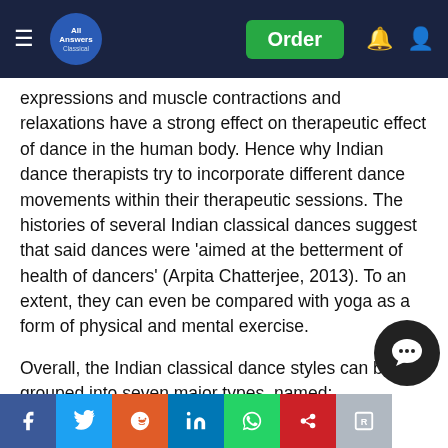All Answers Classical — Order
expressions and muscle contractions and relaxations have a strong effect on therapeutic effect of dance in the human body. Hence why Indian dance therapists try to incorporate different dance movements within their therapeutic sessions. The histories of several Indian classical dances suggest that said dances were 'aimed at the betterment of health of dancers' (Arpita Chatterjee, 2013). To an extent, they can even be compared with yoga as a form of physical and mental exercise.
Overall, the Indian classical dance styles can be grouped into seven major types, named:
Kathak – 'Originated from northern India' (Yogharajah, 2011). (Yogharajah, 2011) also comments that 'the technique of Kathak today is characterized by...
Bharathanatyam – 'Most celebrated art form in the...